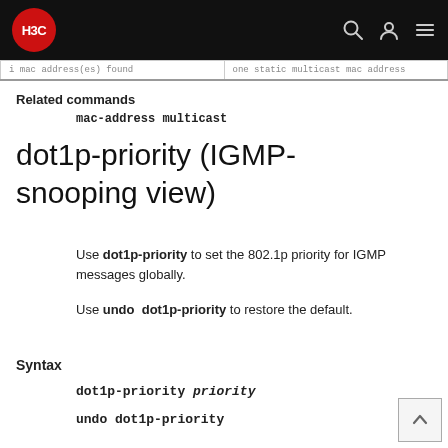H3C
| i mac address(es) found | one static multicast mac address |
Related commands
mac-address multicast
dot1p-priority (IGMP-snooping view)
Use dot1p-priority to set the 802.1p priority for IGMP messages globally.
Use undo dot1p-priority to restore the default.
Syntax
dot1p-priority priority
undo dot1p-priority